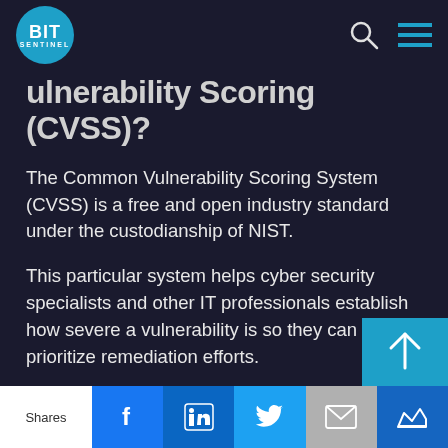BIT SENTINEL
Vulnerability Scoring System (CVSS)?
The Common Vulnerability Scoring System (CVSS) is a free and open industry standard under the custodianship of NIST.
This particular system helps cyber security specialists and other IT professionals establish how severe a vulnerability is so they can prioritize remediation efforts.
The scores used by the CVSS are based on a series
Shares